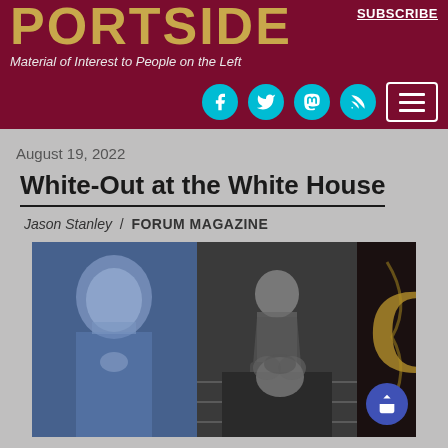PORTSIDE
Material of Interest to People on the Left
SUBSCRIBE
August 19, 2022
White-Out at the White House
Jason Stanley / FORUM MAGAZINE
[Figure (photo): Composite image showing three figures: an elderly white man with grey hair (left, tinted blue), a Black man in a suit seated on steps (center, black and white), and a woman with curly hair (bottom center). Right side has large decorative number/letter graphic in dark background with golden tones.]